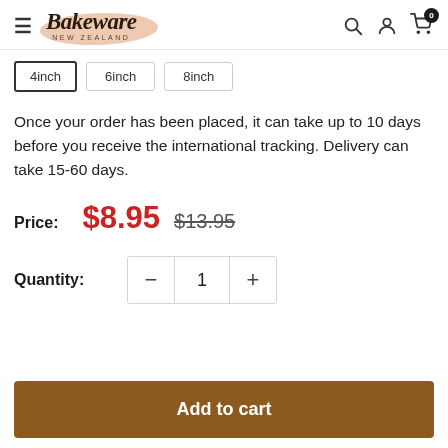Bakeware NEW ZEALAND
4inch  6inch  8inch
Once your order has been placed, it can take up to 10 days before you receive the international tracking. Delivery can take 15-60 days.
Price: $8.95  $13.95
Quantity: 1
Add to cart